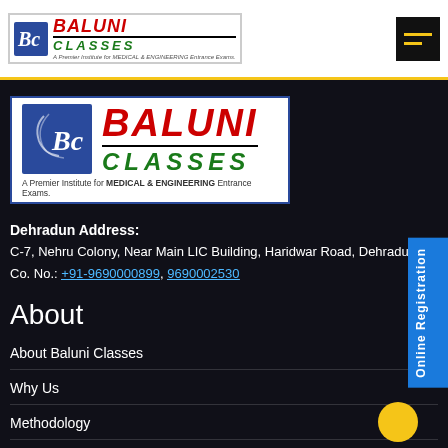Baluni Classes - A Premier Institute for MEDICAL & ENGINEERING Entrance Exams
[Figure (logo): Baluni Classes logo - large version with BC monogram on blue background, BALUNI in red italic, CLASSES in green italic, tagline: A Premier Institute for MEDICAL & ENGINEERING Entrance Exams.]
Dehradun Address:
C-7, Nehru Colony, Near Main LIC Building, Haridwar Road, Dehradun.
Co. No.: +91-9690000899, 9690002530
About
About Baluni Classes
Why Us
Methodology